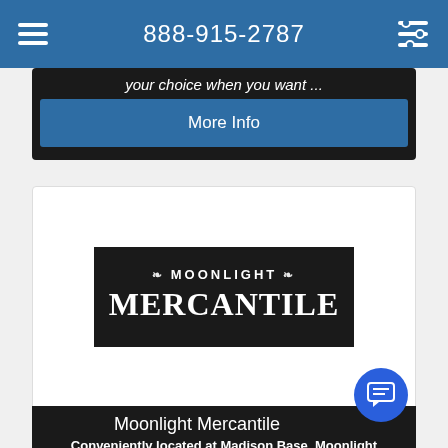888-915-2787
your choice when you want ...
More Info
[Figure (logo): Moonlight Mercantile logo on dark background with decorative ornamental elements. Top line reads: MOONLIGHT, bottom line reads: MERCANTILE in large serif font.]
Moonlight Mercantile
Conveniently located at Madison Base, Moonlight